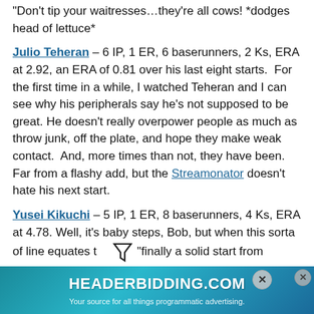"Don't tip your waitresses…they're all cows! *dodges head of lettuce*
Julio Teheran – 6 IP, 1 ER, 6 baserunners, 2 Ks, ERA at 2.92, an ERA of 0.81 over his last eight starts. For the first time in a while, I watched Teheran and I can see why his peripherals say he's not supposed to be great. He doesn't really overpower people as much as throw junk, off the plate, and hope they make weak contact. And, more times than not, they have been. Far from a flashy add, but the Streamonator doesn't hate his next start.
Yusei Kikuchi – 5 IP, 1 ER, 8 baserunners, 4 Ks, ERA at 4.78. Well, it's baby steps, Bob, but when this sorta of line equates to "finally a solid start from Kikuchi," are our expectations that low? Do we sit around a Friday night and watch 29 and Pregnant... deserve better!
[Figure (infographic): HEADERBIDDING.COM advertisement banner - 'Your source for all things programmatic advertising.']